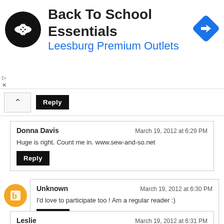[Figure (screenshot): Ad banner for Back To School Essentials at Leesburg Premium Outlets with logo and navigation icon]
Reply
Donna Davis
March 19, 2012 at 6:29 PM
Huge is right. Count me in. www.sew-and-so.net
Reply
Unknown
March 19, 2012 at 6:30 PM
I'd love to participate too ! Am a regular reader :)
Reply
Leslie
March 19, 2012 at 6:31 PM
Love your blog and love Czech beads!